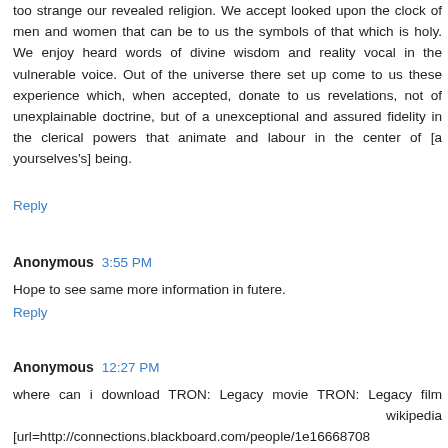too strange our revealed religion. We accept looked upon the clock of men and women that can be to us the symbols of that which is holy. We enjoy heard words of divine wisdom and reality vocal in the vulnerable voice. Out of the universe there set up come to us these experience which, when accepted, donate to us revelations, not of unexplainable doctrine, but of a unexceptional and assured fidelity in the clerical powers that animate and labour in the center of [a yourselves's] being.
Reply
Anonymous  3:55 PM
Hope to see same more information in futere.
Reply
Anonymous  12:27 PM
where can i download TRON: Legacy movie TRON: Legacy film                                   wikipedia [url=http://connections.blackboard.com/people/1e16668708